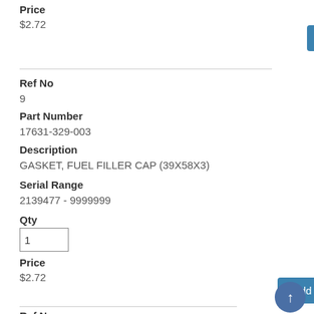Price
$2.72
Add To Cart
Ref No
9
Part Number
17631-329-003
Description
GASKET, FUEL FILLER CAP (39X58X3)
Serial Range
2139477 - 9999999
Qty
Price
$2.72
Add To Cart
Ref No